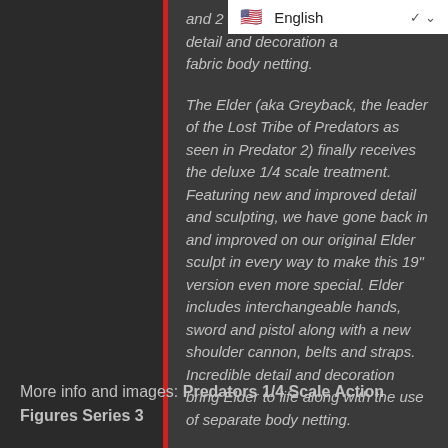and 2 swords with shea detail and decoration a fabric body netting.
The Elder (aka Greyback, the leader of the Lost Tribe of Predators as seen in Predator 2) finally receives the deluxe 1/4 scale treatment. Featuring new and improved detail and sculpting, we have gone back in and improved on our original Elder sculpt in every way to make this 19" version even more special. Elder includes interchangeable hands, sword and pistol along with a new shoulder cannon, belts and straps. Incredible detail and decoration bring Elder to life along with the use of separate body netting.
More info and images: Predators 1/4 Scale Action Figures Series 3